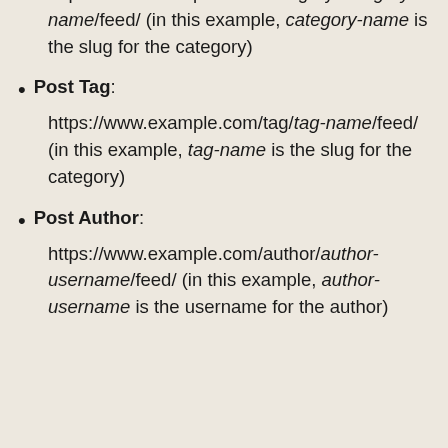https://www.example.com/category/category-name/feed/ (in this example, category-name is the slug for the category)
Post Tag: https://www.example.com/tag/tag-name/feed/ (in this example, tag-name is the slug for the category)
Post Author: https://www.example.com/author/author-username/feed/ (in this example, author-username is the username for the author)